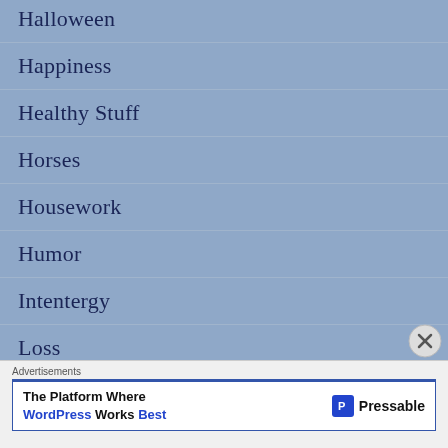Halloween
Happiness
Healthy Stuff
Horses
Housework
Humor
Intentergy
Loss
Advertisements
The Platform Where WordPress Works Best — Pressable